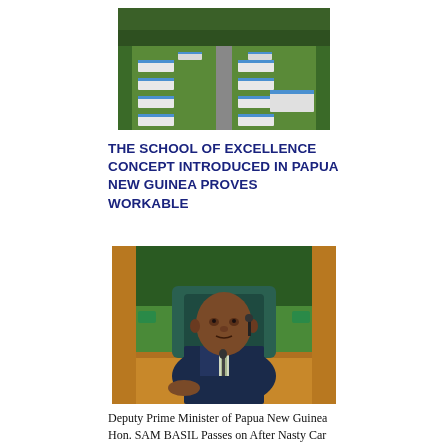[Figure (photo): Aerial view of a school campus with multiple white buildings with blue roofs surrounded by greenery in Papua New Guinea]
THE SCHOOL OF EXCELLENCE CONCEPT INTRODUCED IN PAPUA NEW GUINEA PROVES WORKABLE
[Figure (photo): Portrait of Deputy Prime Minister of Papua New Guinea Hon. SAM BASIL, a man in a dark suit sitting at a parliamentary desk with a microphone, in what appears to be a parliament chamber with green seating]
Deputy Prime Minister of Papua New Guinea Hon. SAM BASIL Passes on After Nasty Car